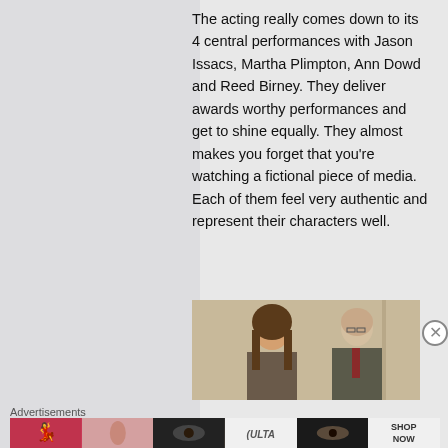The acting really comes down to its 4 central performances with Jason Issacs, Martha Plimpton, Ann Dowd and Reed Birney. They deliver awards worthy performances and get to shine equally. They almost makes you forget that you’re watching a fictional piece of media. Each of them feel very authentic and represent their characters well.
[Figure (photo): Two people standing together — a woman with long brown hair on the left and an older bald man in a suit and red tie on the right, in an indoor setting.]
Advertisements
[Figure (photo): Advertisement banner showing beauty/cosmetics ads: lips with lipstick, makeup brush, eye with mascara, ULTA Beauty logo, eye close-up, and SHOP NOW button.]